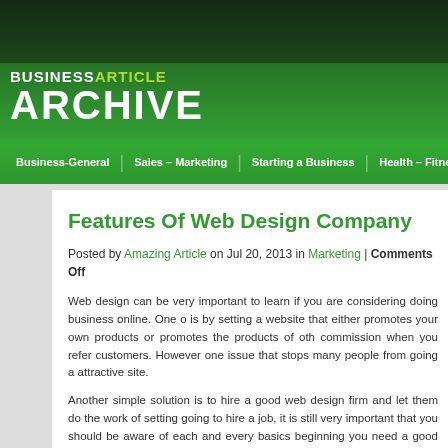[Figure (logo): Business Article Archive website logo on dark green background]
Business-General | Sales – Marketing | Starting a Business | Health – Fitness | A…
Features Of Web Design Company
Posted by Amazing Article on Jul 20, 2013 in Marketing | Comments Off
Web design can be very important to learn if you are considering doing business online. One o is by setting a website that either promotes your own products or promotes the products of oth commission when you refer customers. However one issue that stops many people from going a attractive site.
Another simple solution is to hire a good web design firm and let them do the work of setting going to hire a job, it is still very important that you should be aware of each and every basics beginning you need a good education and experience dealing with computers and related com the basics of how to use computer and related computer programs then designing, developing Therefore the very first step of getting a website online is to be very familiar with your PC or it.